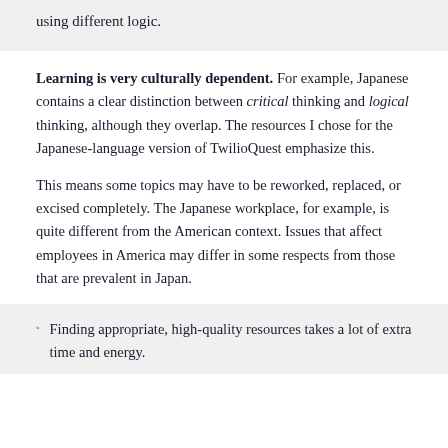using different logic.
Learning is very culturally dependent. For example, Japanese contains a clear distinction between critical thinking and logical thinking, although they overlap. The resources I chose for the Japanese-language version of TwilioQuest emphasize this.
This means some topics may have to be reworked, replaced, or excised completely. The Japanese workplace, for example, is quite different from the American context. Issues that affect employees in America may differ in some respects from those that are prevalent in Japan.
Finding appropriate, high-quality resources takes a lot of extra time and energy.